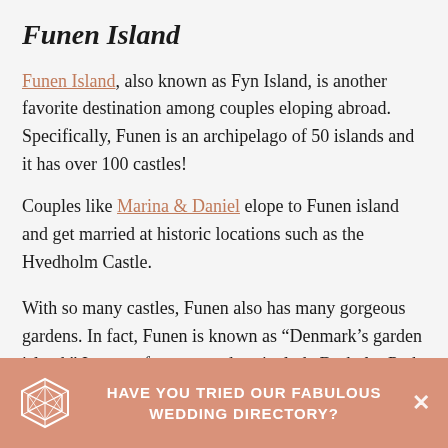Funen Island
Funen Island, also known as Fyn Island, is another favorite destination among couples eloping abroad. Specifically, Funen is an archipelago of 50 islands and it has over 100 castles!
Couples like Marina & Daniel elope to Funen island and get married at historic locations such as the Hvedholm Castle.
With so many castles, Funen also has many gorgeous gardens. In fact, Funen is known as “Denmark’s garden island.” Its most famous gardens include Broholm Park (located near Harridslevgaard Castle) and Sanderumgård Garden. Couples eloping abroad to Funen Island will be astonished by its beauty and hi...
HAVE YOU TRIED OUR FABULOUS WEDDING DIRECTORY?